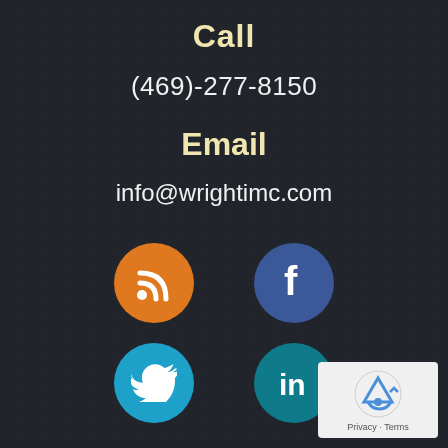Call
(469)-277-8150
Email
info@wrightimc.com
[Figure (infographic): Row of two social media icon circles: RSS (orange) and Facebook (blue)]
[Figure (infographic): Row of two social media icon circles: Twitter (blue) and LinkedIn (teal), plus reCAPTCHA badge bottom right]
[Figure (logo): reCAPTCHA logo with Privacy and Terms text]